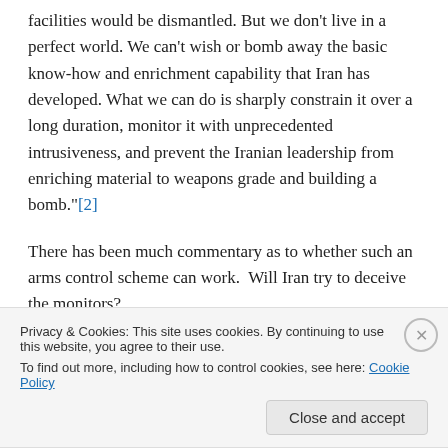facilities would be dismantled. But we don't live in a perfect world. We can't wish or bomb away the basic know-how and enrichment capability that Iran has developed. What we can do is sharply constrain it over a long duration, monitor it with unprecedented intrusiveness, and prevent the Iranian leadership from enriching material to weapons grade and building a bomb."[2]
There has been much commentary as to whether such an arms control scheme can work.  Will Iran try to deceive the monitors? Will the monitoring be effective enough? I...
Privacy & Cookies: This site uses cookies. By continuing to use this website, you agree to their use.
To find out more, including how to control cookies, see here: Cookie Policy
Close and accept